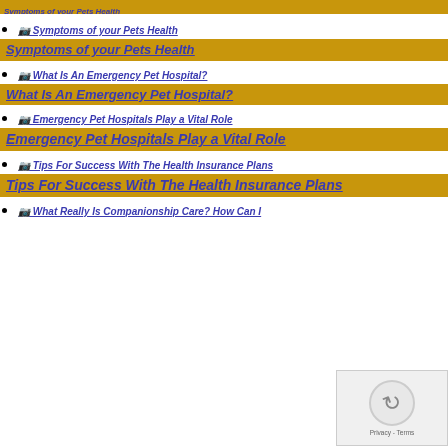Symptoms of your Pets Health
Symptoms of your Pets Health
Symptoms of your Pets Health
What Is An Emergency Pet Hospital?
What Is An Emergency Pet Hospital?
Emergency Pet Hospitals Play a Vital Role
Emergency Pet Hospitals Play a Vital Role
Tips For Success With The Health Insurance Plans
Tips For Success With The Health Insurance Plans
What Really Is Companionship Care? How Can I...